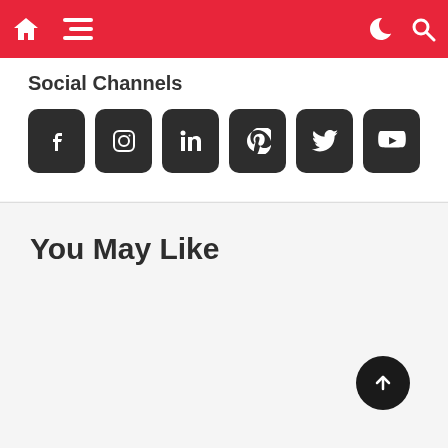Navigation bar with home, menu, dark mode, and search icons
Social Channels
[Figure (infographic): Row of 6 dark rounded square social media icon buttons: Facebook, Instagram, LinkedIn, Pinterest, Twitter, YouTube]
You May Like
[Figure (other): Scroll-to-top circular button with upward arrow]